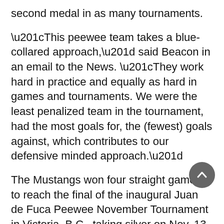second medal in as many tournaments.
“This peewee team takes a blue-collared approach,” said Beacon in an email to the News. “They work hard in practice and equally as hard in games and tournaments. We were the least penalized team in the tournament, had the most goals for, the (fewest) goals against, which contributes to our defensive minded approach.”
The Mustangs won four straight games to reach the final of the inaugural Juan de Fuca Peewee November Tournament in Victoria, B.C., taking silver on Nov. 13. They previously claimed a bronze at the Abbotsford Peewee Icebreaker over Thanksgiving weekend.
“The tournament in Victoria was a great building block for our team’s ultimate goal of taking a run at the provincial